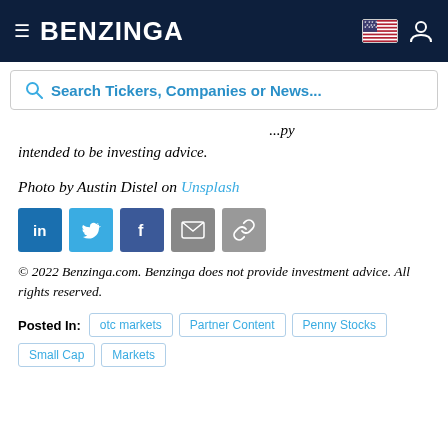BENZINGA
Search Tickers, Companies or News...
...not intended to be investing advice.
Photo by Austin Distel on Unsplash
[Figure (other): Social share buttons: LinkedIn, Twitter, Facebook, Email, Link]
© 2022 Benzinga.com. Benzinga does not provide investment advice. All rights reserved.
Posted In: otc markets, Partner Content, Penny Stocks, Small Cap, Markets